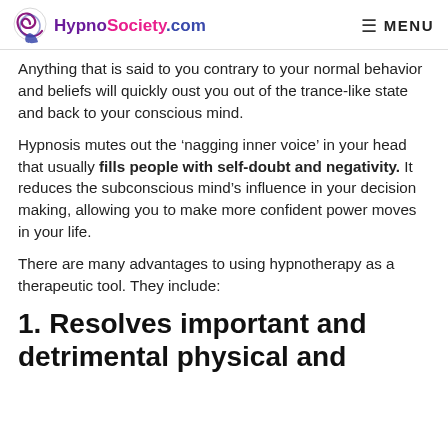HypnoSociety.com   MENU
Anything that is said to you contrary to your normal behavior and beliefs will quickly oust you out of the trance-like state and back to your conscious mind.
Hypnosis mutes out the ‘nagging inner voice’ in your head that usually fills people with self-doubt and negativity. It reduces the subconscious mind’s influence in your decision making, allowing you to make more confident power moves in your life.
There are many advantages to using hypnotherapy as a therapeutic tool. They include:
1. Resolves important and detrimental physical and